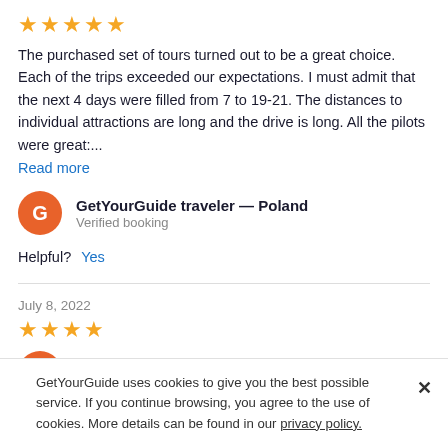[Figure (other): Five gold star rating icons]
The purchased set of tours turned out to be a great choice. Each of the trips exceeded our expectations. I must admit that the next 4 days were filled from 7 to 19-21. The distances to individual attractions are long and the drive is long. All the pilots were great:...
Read more
GetYourGuide traveler — Poland
Verified booking
Helpful?  Yes
July 8, 2022
[Figure (other): Four gold star rating icons]
GetYourGuide traveler — Lithuania
GetYourGuide uses cookies to give you the best possible service. If you continue browsing, you agree to the use of cookies. More details can be found in our privacy policy.